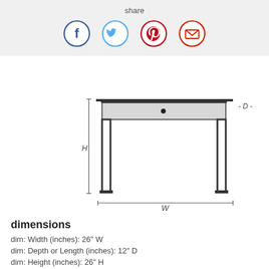[Figure (illustration): Share bar with social media icons: Facebook (blue circle with f), Twitter (light blue circle with bird), Pinterest (red circle with p), Email (red circle with envelope)]
[Figure (engineering-diagram): Line drawing of a small table/nightstand shown from the front elevation. The table has a flat top, one drawer with a knob in the center, four tapered legs, and dimension arrows indicating H (height on the left), W (width on the bottom), and D (depth on the right upper area).]
dimensions
dim: Width (inches): 26" W
dim: Depth or Length (inches): 12" D
dim: Height (inches): 26" H